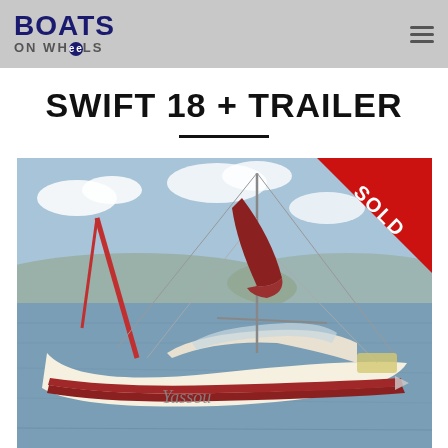BOATS ON WHEELS
SWIFT 18 + TRAILER
[Figure (photo): Sailboat named 'Yassou' moored in water with mast and red sail covers visible, with a red 'SOLD' diagonal banner in the top-right corner of the image.]